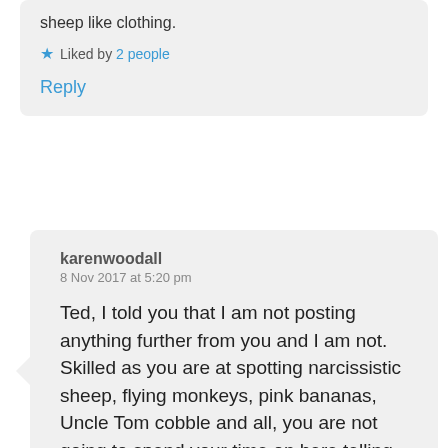sheep like clothing.
★ Liked by 2 people
Reply
karenwoodall
8 Nov 2017 at 5:20 pm
Ted, I told you that I am not posting anything further from you and I am not. Skilled as you are at spotting narcissistic sheep, flying monkeys, pink bananas, Uncle Tom cobble and all, you are not going to spend your time on here telling other people that you